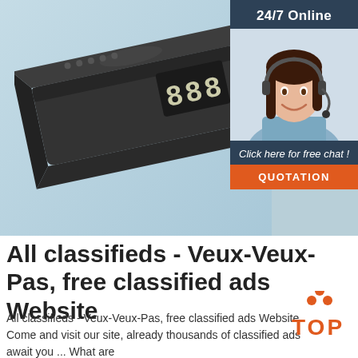[Figure (photo): Product photo of a dark gray rectangular Bluetooth speaker with digital display showing dots/numbers, photographed on a light blue background. In the lower right, an overlaid chat widget shows a customer service woman wearing a headset with text '24/7 Online', 'Click here for free chat!', and an orange 'QUOTATION' button.]
All classifieds - Veux-Veux-Pas, free classified ads Website
All classifieds - Veux-Veux-Pas, free classified ads Website. Come and visit our site, already thousands of classified ads await you ... What are
[Figure (logo): Orange 'TOP' badge logo with three orange dots arranged in a triangle above the word TOP in bold orange letters]